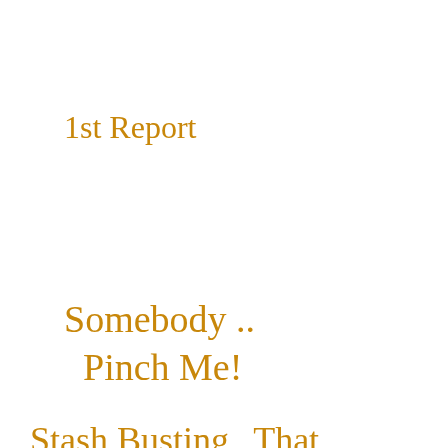1st Report
Somebody ..
  Pinch Me!
Stash Busting To   That Darned